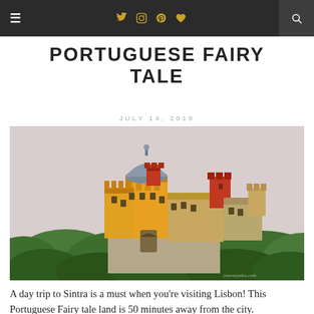≡  🐦 📷 Pinterest ♥  🔍
PORTUGUESE FAIRY TALE
JULY 14, 2019
[Figure (photo): Pena Palace in Sintra, Portugal — a colorful yellow and red castle with a dome, set atop a green forested hill against a pale pink sky.]
A day trip to Sintra is a must when you're visiting Lisbon! This Portuguese Fairy tale land is 50 minutes away from the city.